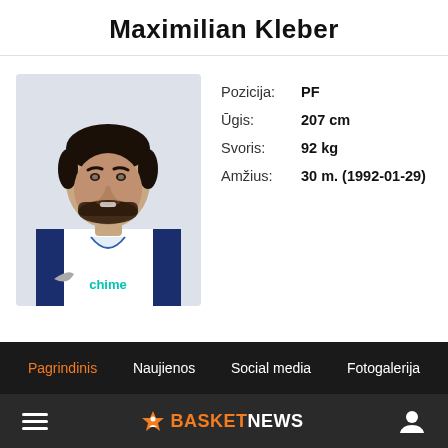Maximilian Kleber
[Figure (photo): Head and shoulders photo of basketball player Maximilian Kleber wearing a white Dallas Mavericks jersey with Chime sponsor logo]
Pozicija: PF
Ūgis: 207 cm
Svoris: 92 kg
Amžius: 30 m. (1992-01-29)
Pagrindinis  Naujienos  Social media  Fotogalerija
☰  BASKETNEWS  👤